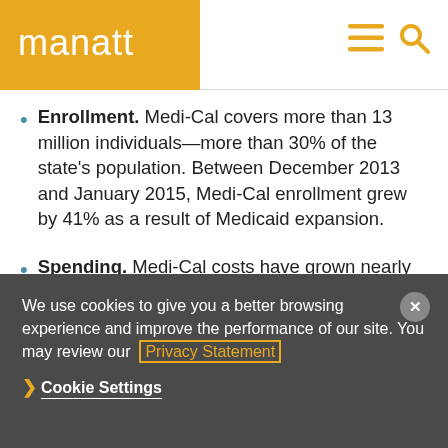manatt
Enrollment. Medi-Cal covers more than 13 million individuals—more than 30% of the state's population. Between December 2013 and January 2015, Medi-Cal enrollment grew by 41% as a result of Medicaid expansion.
Spending. Medi-Cal costs have grown nearly threefold over the last decade and today total $92 billion in annual expenditures. Spending growth has been driven largely by new coverage. Even
We use cookies to give you a better browsing experience and improve the performance of our site. You may review our Privacy Statement
Cookie Settings